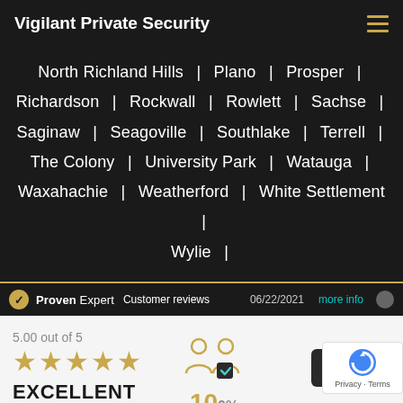Vigilant Private Security
North Richland Hills | Plano | Prosper | Richardson | Rockwall | Rowlett | Sachse | Saginaw | Seagoville | Southlake | Terrell | The Colony | University Park | Watauga | Waxahachie | Weatherford | White Settlement | Wylie |
Proven Expert  Customer reviews  06/22/2021  more info
5.00 out of 5  EXCELLENT  9 Reviews
100% Recommended